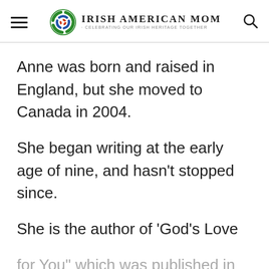Irish American Mom - Celebrating Our Irish Heritage Together
Anne was born and raised in England, but she moved to Canada in 2004.
She began writing at the early age of nine, and hasn't stopped since.
She is the author of ‘God’s Love for You” which was published in